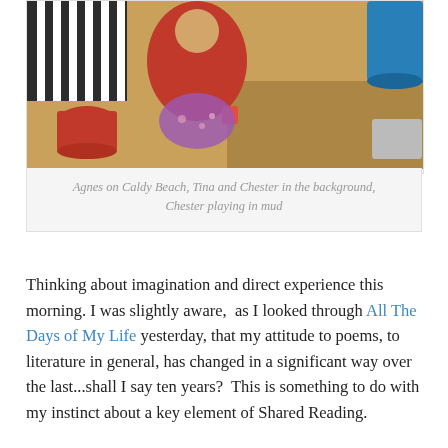[Figure (photo): Child in a red hoodie sitting on a sandy beach with colourful buckets around them; striped towel, sand, and a blue bucket visible in background.]
Agnes on Caldy Beach, Tina and Chester in the background, Chester playing in mud
Thinking about imagination and direct experience this morning. I was slightly aware, as I looked through All The Days of My Life yesterday, that my attitude to poems, to literature in general, has changed in a significant way over the last...shall I say ten years? This is something to do with my instinct about a key element of Shared Reading.
It's out of print now – be great if The Reader could get it